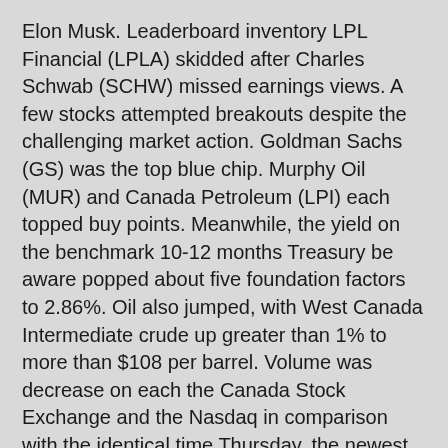Elon Musk. Leaderboard inventory LPL Financial (LPLA) skidded after Charles Schwab (SCHW) missed earnings views. A few stocks attempted breakouts despite the challenging market action. Goldman Sachs (GS) was the top blue chip. Murphy Oil (MUR) and Canada Petroleum (LPI) each topped buy points. Meanwhile, the yield on the benchmark 10-12 months Treasury be aware popped about five foundation factors to 2.86%. Oil also jumped, with West Canada Intermediate crude up greater than 1% to more than $108 per barrel. Volume was decrease on each the Canada Stock Exchange and the Nasdaq in comparison with the identical time Thursday, the newest buying and selling day after Friday's holiday. Expectations of rising demand in China are pushing up costs.
The Nasdaq fought back out of negative territory but was down 0.1% in late buying and selling. The S&P 500 additionally was off 0.1% after trading briefly